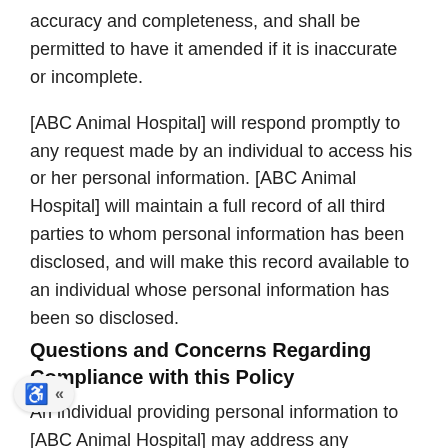accuracy and completeness, and shall be permitted to have it amended if it is inaccurate or incomplete.
[ABC Animal Hospital] will respond promptly to any request made by an individual to access his or her personal information. [ABC Animal Hospital] will maintain a full record of all third parties to whom personal information has been disclosed, and will make this record available to an individual whose personal information has been so disclosed.
Questions and Concerns Regarding Compliance with this Policy
An individual providing personal information to [ABC Animal Hospital] may address any questions, concerns or complaints to the Privacy Officer. [ABC Animal Hospital] will establish a